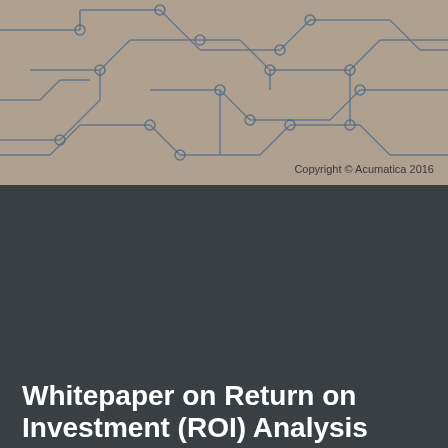[Figure (illustration): Circuit board pattern illustration with blue lines and nodes on a gray/tan background]
Copyright © Acumatica 2016
Whitepaper on Return on Investment (ROI) Analysis for ERP Replacement
Time for a new business management solution? Here's how to prove it.